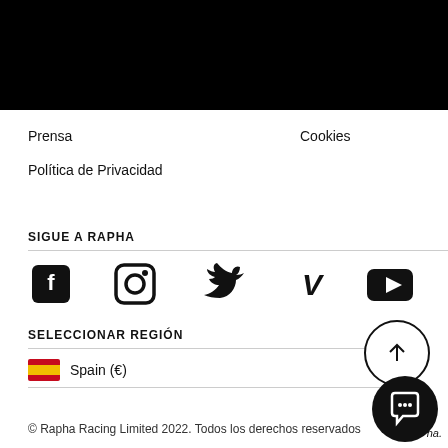[Figure (other): Black header bar at top of page]
Prensa
Cookies
Política de Privacidad
SIGUE A RAPHA
[Figure (other): Social media icons row: Facebook, Instagram, Twitter, Vimeo, YouTube]
SELECCIONAR REGIÓN
Spain (€)
[Figure (other): Back to top arrow circle button]
[Figure (other): Chat bubble button]
© Rapha Racing Limited 2022. Todos los derechos reservados